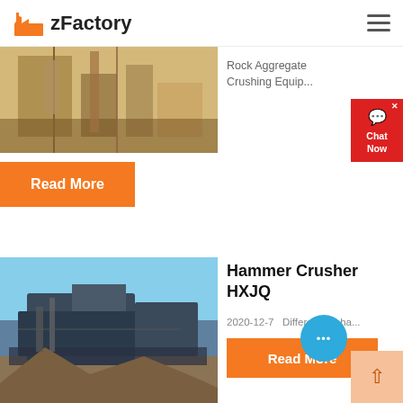zFactory
[Figure (photo): Industrial machinery interior, conveyor and processing equipment]
Rock Aggregate Crushing Equip...
Read More
Hammer Crusher HXJQ
2020-12-7   Different ty...ha...
[Figure (photo): Mobile rock crushing machinery on a construction/mining site outdoors]
Read More